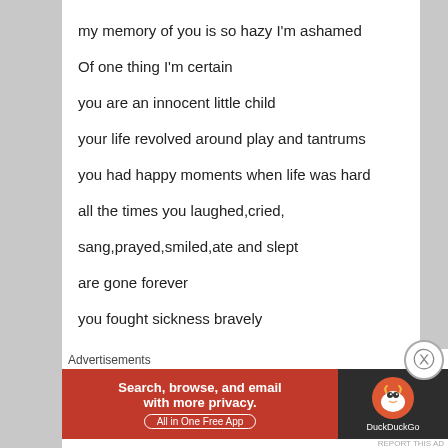my memory of you is so hazy I'm ashamed
Of one thing I'm certain
you are an innocent little child
your life revolved around play and tantrums
you had happy moments when life was hard
all the times you laughed,cried,
sang,prayed,smiled,ate and slept
are gone forever
you fought sickness bravely
Advertisements
[Figure (infographic): DuckDuckGo advertisement banner: orange background with text 'Search, browse, and email with more privacy. All in One Free App' and DuckDuckGo duck logo on dark background]